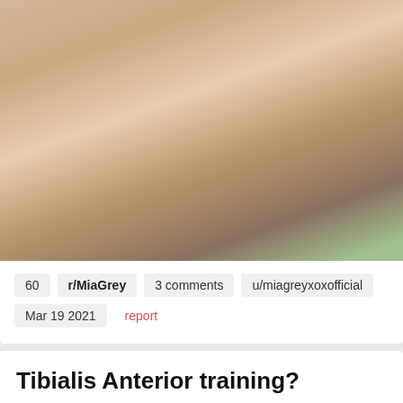[Figure (photo): Photo of a woman lifting her shirt, showing her chest, taken inside a car.]
60   r/MiaGrey   3 comments   u/miagreyxoxofficial
Mar 19 2021   report
Tibialis Anterior training?
How important is it to train the tibialis anterior for squatting strength and jumping ability?